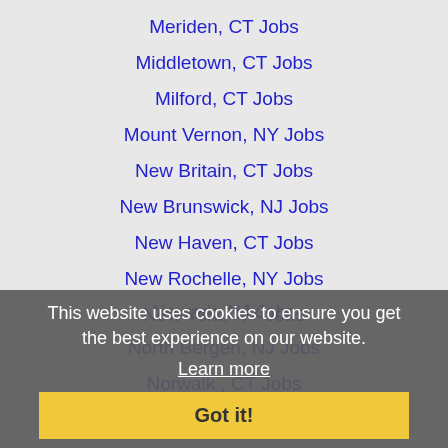Meriden, CT Jobs
Middletown, CT Jobs
Milford, CT Jobs
Mount Vernon, NY Jobs
New Britain, CT Jobs
New Brunswick, NJ Jobs
New Haven, CT Jobs
New Rochelle, NY Jobs
New York, NY Jobs
Newark, NJ Jobs
North Bergen, NJ Jobs
Norwalk , CT Jobs
Parsippany-Troy Hills Township, NJ Jobs
Passaic, NJ Jobs
Paterson, NJ Jobs
Perth Amboy, NJ Jobs
Philadelphia, PA Jobs
Plainfield, NJ Jobs
This website uses cookies to ensure you get the best experience on our website. Learn more
Got it!